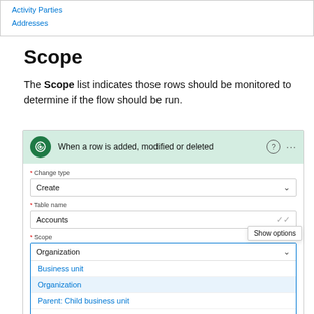[Figure (screenshot): Top portion of a UI screenshot showing links 'Activity Parties' and 'Addresses' in blue.]
Scope
The Scope list indicates those rows should be monitored to determine if the flow should be run.
[Figure (screenshot): Power Automate UI showing 'When a row is added, modified or deleted' trigger configuration. Fields: Change type = Create, Table name = Accounts (with Show options tooltip), Scope dropdown = Organization (open), with options: Business unit, Organization (highlighted), Parent: Child business unit, User, Enter custom value.]